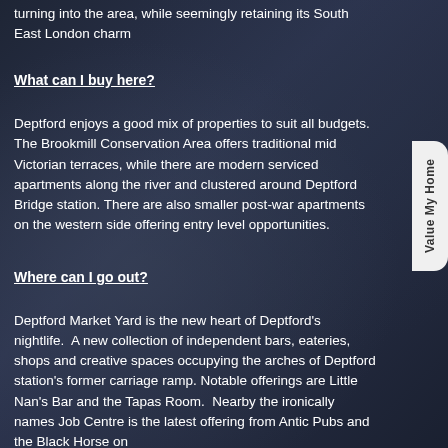turning into the area, while seemingly retaining its South East London charm
What can I buy here?
Deptford enjoys a good mix of properties to suit all budgets.  The Brookmill Conservation Area offers traditional mid Victorian terraces, while there are modern serviced apartments along the river and clustered around Deptford Bridge station. There are also smaller post-war apartments on the western side offering entry level opportunities.
Where can I go out?
Deptford Market Yard is the new heart of Deptford's nightlife.  A new collection of independent bars, eateries, shops and creative spaces occupying the arches of Deptford station's former carriage ramp. Notable offerings are Little Nan's Bar and the Tapas Room.  Nearby the ironically names Job Centre is the latest offering from Antic Pubs and the Black Horse on